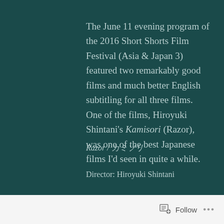The June 11 evening program of the 2016 Short Shorts Film Festival (Asia & Japan 3) featured two remarkably good films and much better English subtitling for all three films.
One of the films, Hiroyuki Shintani's Kamisori (Razor), was one of the best Japanese films I'd seen in quite a while.
Razor / カミソリ
Director: Hiroyuki Shintani
Follow  ...